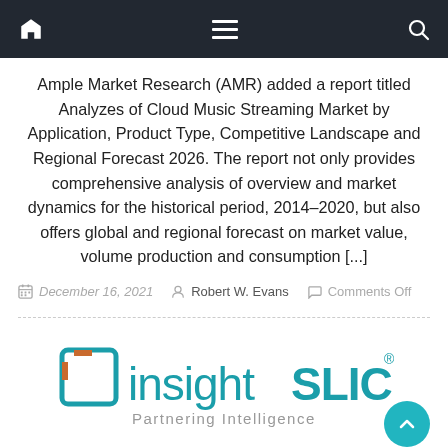Navigation bar with home, menu, and search icons
Ample Market Research (AMR) added a report titled Analyzes of Cloud Music Streaming Market by Application, Product Type, Competitive Landscape and Regional Forecast 2026. The report not only provides comprehensive analysis of overview and market dynamics for the historical period, 2014–2020, but also offers global and regional forecast on market value, volume production and consumption [...]
December 16, 2021   Robert W. Evans   Comments Off
[Figure (logo): insightSLICE logo with tagline 'Partnering Intelligence'. Square bracket icon in teal and orange, text in teal. Registered trademark symbol.]